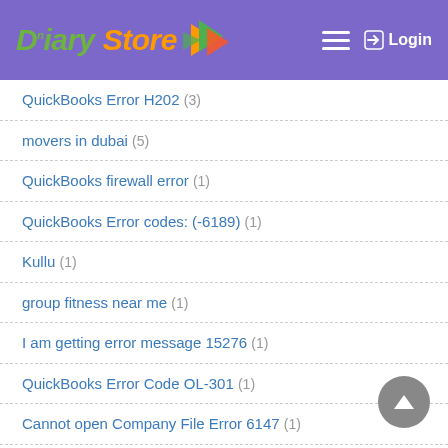Diary Store — Login
QuickBooks Error H202 (3)
movers in dubai (5)
QuickBooks firewall error (1)
QuickBooks Error codes: (-6189) (1)
Kullu (1)
group fitness near me (1)
I am getting error message 15276 (1)
QuickBooks Error Code OL-301 (1)
Cannot open Company File Error 6147 (1)
Mark Frauenfelder (1)
QuickBooks Desktop Error H505 (1)
Quotes on Sympathy (1)